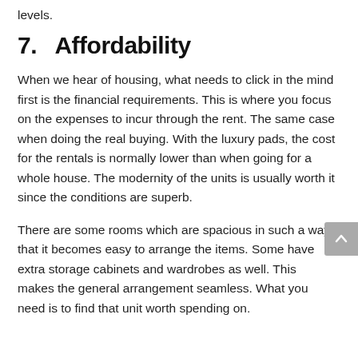levels.
7.   Affordability
When we hear of housing, what needs to click in the mind first is the financial requirements. This is where you focus on the expenses to incur through the rent. The same case when doing the real buying. With the luxury pads, the cost for the rentals is normally lower than when going for a whole house. The modernity of the units is usually worth it since the conditions are superb.
There are some rooms which are spacious in such a way that it becomes easy to arrange the items. Some have extra storage cabinets and wardrobes as well. This makes the general arrangement seamless. What you need is to find that unit worth spending on.